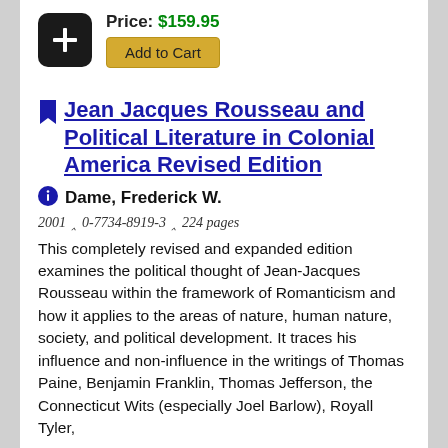Price: $159.95
Add to Cart
Jean Jacques Rousseau and Political Literature in Colonial America Revised Edition
Dame, Frederick W.
2001 ∧ 0-7734-8919-3 ∧ 224 pages
This completely revised and expanded edition examines the political thought of Jean-Jacques Rousseau within the framework of Romanticism and how it applies to the areas of nature, human nature, society, and political development. It traces his influence and non-influence in the writings of Thomas Paine, Benjamin Franklin, Thomas Jefferson, the Connecticut Wits (especially Joel Barlow), Royall Tyler,